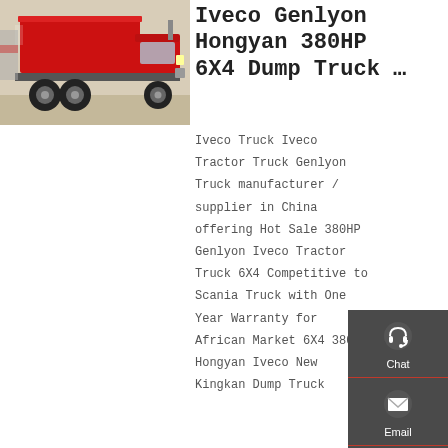[Figure (photo): Red Iveco Genlyon Hongyan 6x4 dump truck parked on pavement, side/front view, red cabin and red dump body]
Iveco Genlyon Hongyan 380HP 6X4 Dump Truck …
Iveco Truck Iveco Tractor Truck Genlyon Truck manufacturer / supplier in China offering Hot Sale 380HP Genlyon Iveco Tractor Truck 6X4 Competitive to Scania Truck with One Year Warranty for African Market 6X4 380HP Hongyan Iveco New Kingkan Dump Truck
[Figure (infographic): Dark sidebar panel with Chat (headset icon), Email (envelope icon), Contact (speech bubble icon), Top (upward arrow icon) buttons]